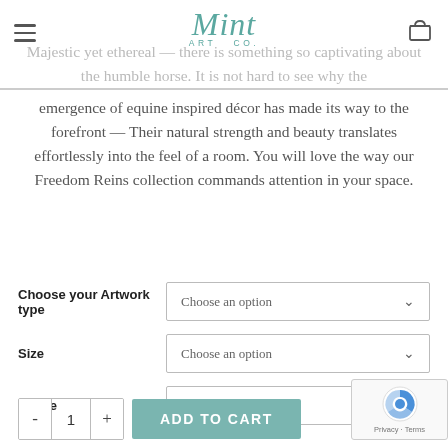Mint Art Co.
Majestic yet ethereal — there is something so captivating about the humble horse. It is not hard to see why the emergence of equine inspired décor has made its way to the forefront — Their natural strength and beauty translates effortlessly into the feel of a room. You will love the way our Freedom Reins collection commands attention in your space.
Choose your Artwork type — Choose an option
Size — Choose an option
Frame — Choose an option
- 1 + ADD TO CART